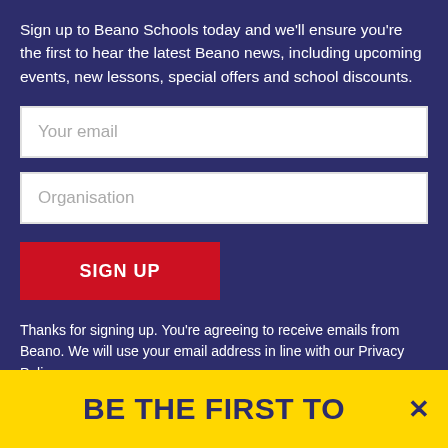Sign up to Beano Schools today and we'll ensure you're the first to hear the latest Beano news, including upcoming events, new lessons, special offers and school discounts.
Your email
Organisation
SIGN UP
Thanks for signing up. You're agreeing to receive emails from Beano. We will use your email address in line with our Privacy Policy.
BE THE FIRST TO KNOW